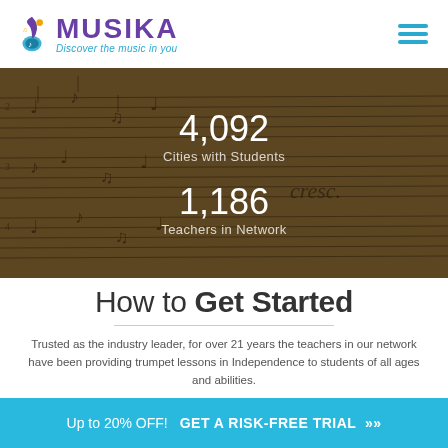MUSIKA — Discover the music in you
[Figure (photo): Sheet music background image with dark overlay showing statistics: 4,092 Cities with Students and 1,186 Teachers in Network]
How to Get Started
Trusted as the industry leader, for over 21 years the teachers in our network have been providing trumpet lessons in Independence to students of all ages and abilities.
Up to 20% OFF! GET A RISK-FREE TRIAL »